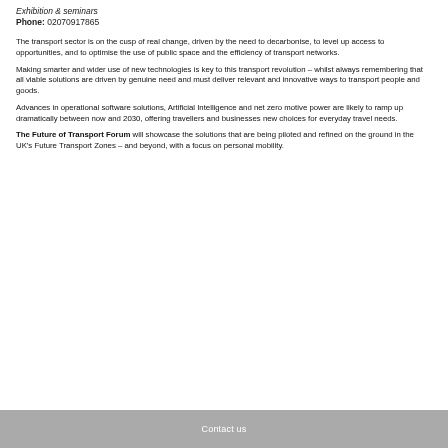Exhibition & seminars
Phone: 02070917865
The transport sector is on the cusp of real change, driven by the need to decarbonise, to level up access to opportunities, and to optimise the use of public space and the efficiency of transport networks.
Making smarter and wider use of new technologies is key to this transport revolution – whilst always remembering that all viable solutions are driven by genuine need and must deliver relevant and innovative ways to transport people and goods.
Advances in operational software solutions, Artificial Intelligence and net zero motive power are likely to ramp up dramatically between now and 2030, offering travellers and businesses new choices for everyday travel needs.
The Future of Transport Forum will showcase the solutions that are being piloted and refined on the ground in the UK's Future Transport Zones – and beyond, with a focus on personal mobility.
Contact us